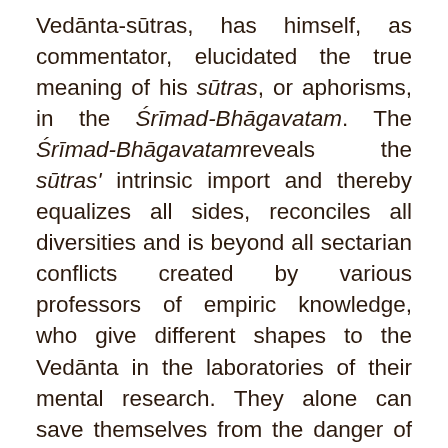Vedānta-sūtras, has himself, as commentator, elucidated the true meaning of his sūtras, or aphorisms, in the Śrīmad-Bhāgavatam. The Śrīmad-Bhāgavatamreveals the sūtras' intrinsic import and thereby equalizes all sides, reconciles all diversities and is beyond all sectarian conflicts created by various professors of empiric knowledge, who give different shapes to the Vedānta in the laboratories of their mental research. They alone can save themselves from the danger of falling into the ditches of their various imaginary principles and ill-concevied sectarianism, and they alone